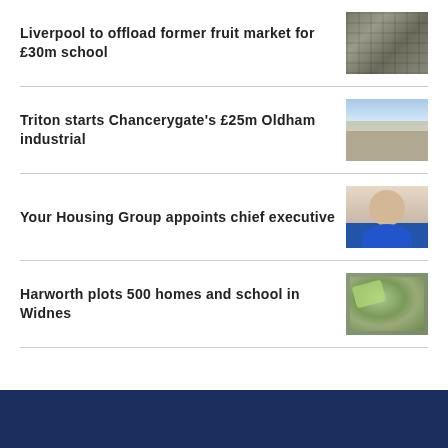Liverpool to offload former fruit market for £30m school
[Figure (photo): Aerial view of a site, likely the former fruit market in Liverpool]
Triton starts Chancerygate's £25m Oldham industrial
[Figure (photo): Photo of an industrial building exterior with road and sky]
Your Housing Group appoints chief executive
[Figure (photo): Headshot of a woman, the newly appointed chief executive of Your Housing Group]
Harworth plots 500 homes and school in Widnes
[Figure (map): Site plan or map showing the planned development in Widnes]